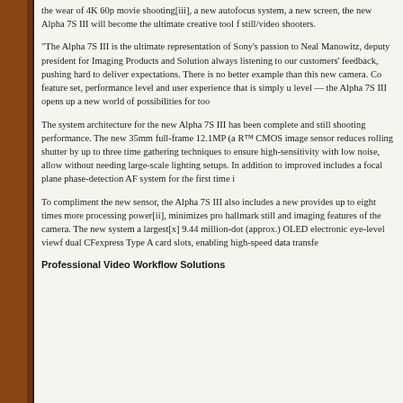the wear of 4K 60p movie shooting[iii], a new autofocus system, a new screen, the new Alpha 7S III will become the ultimate creative tool for still/video shooters.
“The Alpha 7S III is the ultimate representation of Sony’s passion to Neal Manowitz, deputy president for Imaging Products and Solution always listening to our customers’ feedback, pushing hard to deliver expectations. There is no better example than this new camera. Co feature set, performance level and user experience that is simply un level — the Alpha 7S III opens up a new world of possibilities for too
The system architecture for the new Alpha 7S III has been complete and still shooting performance. The new 35mm full-frame 12.1MP (a R™ CMOS image sensor reduces rolling shutter by up to three time gathering techniques to ensure high-sensitivity with low noise, allow without needing large-scale lighting setups. In addition to improved includes a focal plane phase-detection AF system for the first time i
To compliment the new sensor, the Alpha 7S III also includes a new provides up to eight times more processing power[ii], minimizes pro hallmark still and imaging features of the camera. The new system a largest[x] 9.44 million-dot (approx.) OLED electronic eye-level viewf dual CFexpress Type A card slots, enabling high-speed data transfe
Professional Video Workflow Solutions